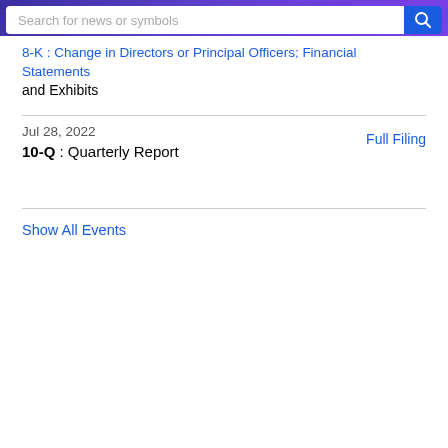Search for news or symbols
8-K : Change in Directors or Principal Officers; Financial Statements and Exhibits
Jul 28, 2022
Full Filing
10-Q : Quarterly Report
Show All Events